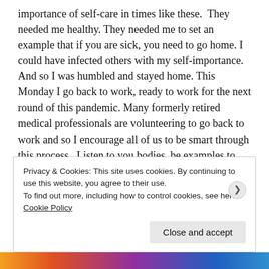importance of self-care in times like these.  They needed me healthy. They needed me to set an example that if you are sick, you need to go home. I could have infected others with my self-importance.  And so I was humbled and stayed home. This Monday I go back to work, ready to work for the next round of this pandemic. Many formerly retired medical professionals are volunteering to go back to work and so I encourage all of us to be smart through this process.  Listen to you bodies, be examples to others, and whenever you can REST.
Privacy & Cookies: This site uses cookies. By continuing to use this website, you agree to their use.
To find out more, including how to control cookies, see here: Cookie Policy